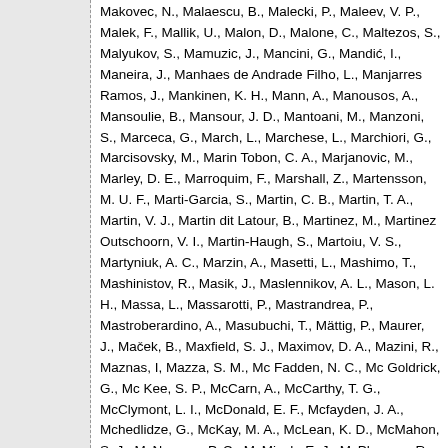Makovec, N., Malaescu, B., Malecki, P., Maleev, V. P., Malek, F., Mallik, U., Malon, D., Malone, C., Maltezos, S., Malyukov, S., Mamuzic, J., Mancini, G., Mandić, I., Maneira, J., Manhaes de Andrade Filho, L., Manjarres Ramos, J., Mankinen, K. H., Mann, A., Manousos, A., Mansoulie, B., Mansour, J. D., Mantoani, M., Manzoni, S., Marceca, G., March, L., Marchese, L., Marchiori, G., Marcisovsky, M., Marin Tobon, C. A., Marjanovic, M., Marley, D. E., Marroquim, F., Marshall, Z., Martensson, M. U. F., Marti-Garcia, S., Martin, C. B., Martin, T. A., Martin, V. J., Martin dit Latour, B., Martinez, M., Martinez Outschoorn, V. I., Martin-Haugh, S., Martoiu, V. S., Martyniuk, A. C., Marzin, A., Masetti, L., Mashimo, T., Mashinistov, R., Masik, J., Maslennikov, A. L., Mason, L. H., Massa, L., Massarotti, P., Mastrandrea, P., Mastroberardino, A., Masubuchi, T., Mättig, P., Maurer, J., Maček, B., Maxfield, S. J., Maximov, D. A., Mazini, R., Maznas, I, Mazza, S. M., Mc Fadden, N. C., Mc Goldrick, G., Mc Kee, S. P., McCarn, A., McCarthy, T. G., McClymont, L. I., McDonald, E. F., Mcfayden, J. A., Mchedlidze, G., McKay, M. A., McLean, K. D., McMahon, S. J., McNamara, P. C., McMinch, E. J., McPherson, R. A., Miftakhov, A. B.